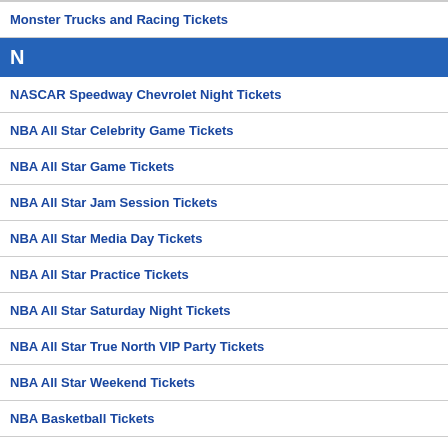Monster Trucks and Racing Tickets
N
NASCAR Speedway Chevrolet Night Tickets
NBA All Star Celebrity Game Tickets
NBA All Star Game Tickets
NBA All Star Jam Session Tickets
NBA All Star Media Day Tickets
NBA All Star Practice Tickets
NBA All Star Saturday Night Tickets
NBA All Star True North VIP Party Tickets
NBA All Star Weekend Tickets
NBA Basketball Tickets
NBA Centre Court Tickets